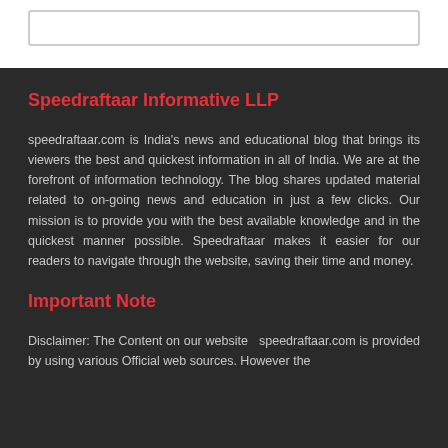Speedraftaar Informative LLP
speedraftaar.com is India's news and educational blog that brings its viewers the best and quickest information in all of India. We are at the forefront of information technology. The blog shares updated material related to on-going news and education in just a few clicks. Our mission is to provide you with the best available knowledge and in the quickest manner possible. Speedraftaar makes it easier for our readers to navigate through the website, saving their time and money.
Important Note
Disclaimer: The Content on our website  speedraftaar.com is provided by using various Official web sources. However the